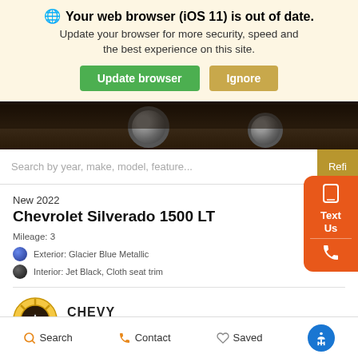🌐 Your web browser (iOS 11) is out of date. Update your browser for more security, speed and the best experience on this site. [Update browser] [Ignore]
[Figure (photo): Bottom portion of a dark-colored vehicle/truck showing wheel and undercarriage area in a dark garage or showroom setting]
Search by year, make, model, feature... | Refi
New 2022
Chevrolet Silverado 1500 LT
Mileage: 3
Exterior: Glacier Blue Metallic
Interior: Jet Black, Cloth seat trim
[Figure (logo): Chevy Open Road logo - circular badge with sun/gear icon over a road, with text CHEVY OPEN ROAD]
Search   Contact   Saved   [Accessibility]